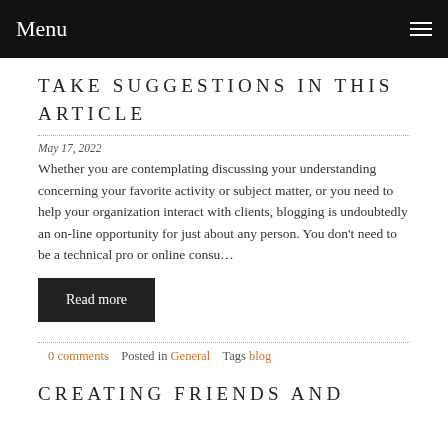Menu
TAKE SUGGESTIONS IN THIS ARTICLE
May 17, 2022
Whether you are contemplating discussing your understanding concerning your favorite activity or subject matter, or you need to help your organization interact with clients, blogging is undoubtedly an on-line opportunity for just about any person. You don't need to be a technical pro or online consu…
Read more
0 comments   Posted in General   Tags blog
CREATING FRIENDS AND